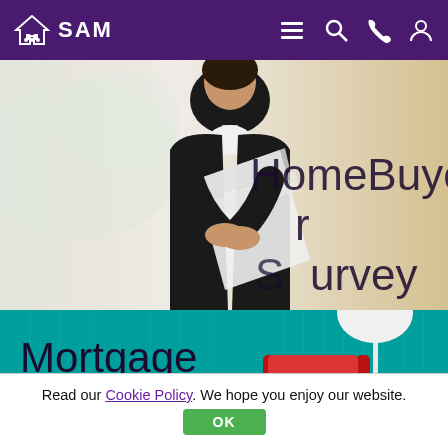SAM - Navigation bar with logo and icons
[Figure (photo): Woman in black blazer holding rolled papers/blueprints, with overlaid text 'HomeBuyer Survey' on blurred interior background]
[Figure (photo): Teal panelled background with red armchair and white floor lamp, text overlay 'Mortgage Brokers']
Read our Cookie Policy. We hope you enjoy our website.
OK